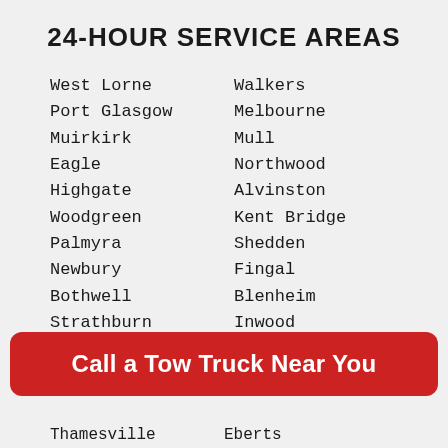24-HOUR SERVICE AREAS
West Lorne
Port Glasgow
Muirkirk
Eagle
Highgate
Woodgreen
Palmyra
Newbury
Bothwell
Strathburn
Glencoe
Walkers
Melbourne
Mull
Northwood
Alvinston
Kent Bridge
Shedden
Fingal
Blenheim
Inwood
Erieau
Port Stanley
Call a Tow Truck Near You
Thamesville
Eberts